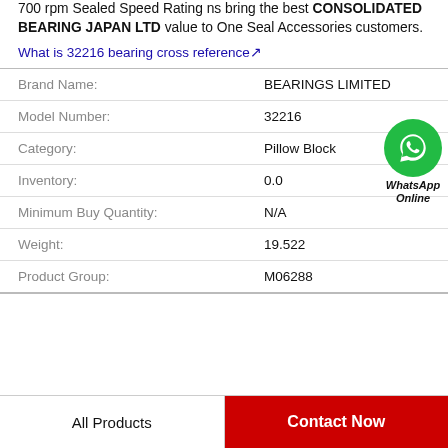700 rpm Sealed Speed Rating ns bring the best CONSOLIDATED BEARING JAPAN LTD value to One Seal Accessories customers.
What is 32216 bearing cross reference↗
| Field | Value |
| --- | --- |
| Brand Name: | BEARINGS LIMITED |
| Model Number: | 32216 |
| Category: | Pillow Block |
| Inventory: | 0.0 |
| Minimum Buy Quantity: | N/A |
| Weight: | 19.522 |
| Product Group: | M06288 |
[Figure (logo): WhatsApp Online green circle badge with phone icon and italic text 'WhatsApp Online']
All Products
Contact Now